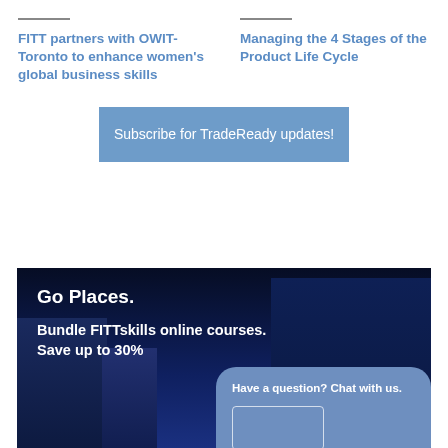FITT partners with OWIT-Toronto to enhance women's global business skills
Managing the 4 Stages of the Product Life Cycle
Subscribe for TradeReady updates!
[Figure (photo): Dark blue city skyline at night with tall buildings illuminated. Text overlay reads 'Go Places. Bundle FITTskills online courses. Save up to 30%'. A chat bubble UI element appears in the lower right with text 'Have a question? Chat with us.' and an input box.]